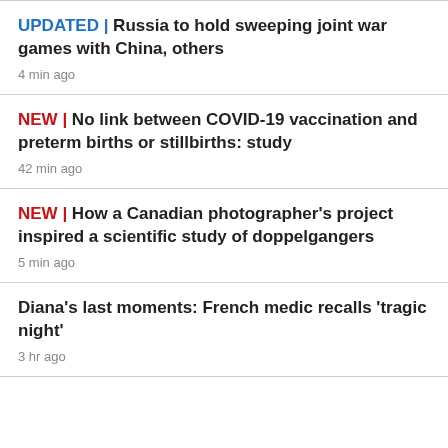UPDATED | Russia to hold sweeping joint war games with China, others
4 min ago
NEW | No link between COVID-19 vaccination and preterm births or stillbirths: study
42 min ago
NEW | How a Canadian photographer's project inspired a scientific study of doppelgangers
5 min ago
Diana's last moments: French medic recalls 'tragic night'
3 hr ago